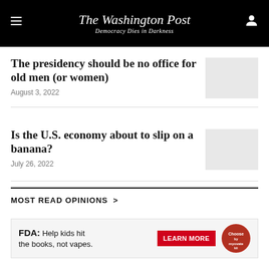The Washington Post — Democracy Dies in Darkness
The presidency should be no office for old men (or women)
August 3, 2022
Is the U.S. economy about to slip on a banana?
July 26, 2022
MOST READ OPINIONS >
[Figure (other): FDA advertisement: Help kids hit the books, not vapes. Learn More button, Choose by Myovate badge.]